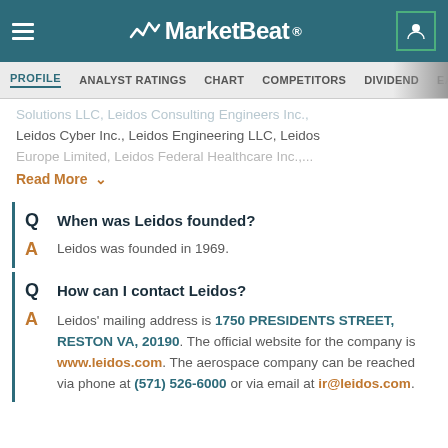MarketBeat
PROFILE | ANALYST RATINGS | CHART | COMPETITORS | DIVIDEND | EARNINGS
Solutions LLC, Leidos Consulting Engineers Inc., Leidos Cyber Inc., Leidos Engineering LLC, Leidos Europe Limited, Leidos Federal Healthcare Inc., ... Read More
Q  When was Leidos founded?
A  Leidos was founded in 1969.
Q  How can I contact Leidos?
A  Leidos' mailing address is 1750 PRESIDENTS STREET, RESTON VA, 20190. The official website for the company is www.leidos.com. The aerospace company can be reached via phone at (571) 526-6000 or via email at ir@leidos.com.